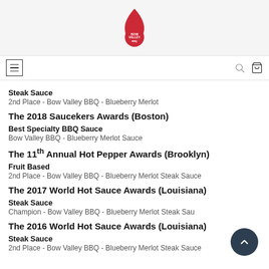[Figure (logo): Bow Valley BBQ flame logo — red flame with text inside]
Navigation bar with hamburger menu icon and shopping bag icon
Steak Sauce
2nd Place - Bow Valley BBQ - Blueberry Merlot
The 2018 Saucekers Awards (Boston)
Best Specialty BBQ Sauce
Bow Valley BBQ - Blueberry Merlot Sauce
The 11th Annual Hot Pepper Awards (Brooklyn)
Fruit Based
2nd Place - Bow Valley BBQ - Blueberry Merlot Steak Sauce
The 2017 World Hot Sauce Awards (Louisiana)
Steak Sauce
Champion - Bow Valley BBQ - Blueberry Merlot Steak Sauce
The 2016 World Hot Sauce Awards (Louisiana)
Steak Sauce
2nd Place - Bow Valley BBQ - Blueberry Merlot Steak Sauce